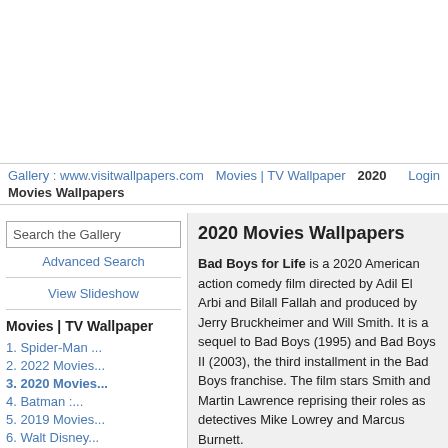Gallery : www.visitwallpapers.com   Movies | TV Wallpaper   2020   Login
Movies Wallpapers
Search the Gallery
Advanced Search
View Slideshow
Movies | TV Wallpaper
1. Spider-Man ...
2. 2022 Movies...
3. 2020 Movies...
4. Batman :...
5. 2019 Movies...
6. Walt Disney...
7. Animation...
...
2020 Movies Wallpapers
Bad Boys for Life is a 2020 American action comedy film directed by Adil El Arbi and Bilall Fallah and produced by Jerry Bruckheimer and Will Smith. It is a sequel to Bad Boys (1995) and Bad Boys II (2003), the third installment in the Bad Boys franchise. The film stars Smith and Martin Lawrence reprising their roles as detectives Mike Lowrey and Marcus Burnett.
A third Bad Boys film was discussed after the success of Bad Boys II, with original director Michael Bay stating he would be interested in returning, but budget constraints would make it difficult. The film went through several attempts at development over the next decade, with various writers and directors attached. Finally in October 2018 the film was officially announced, and filming took place from January to August 2019 in Atlanta and Miami.